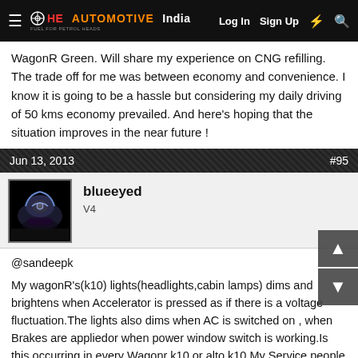The Automotive India | Log In  Sign Up
WagonR Green. Will share my experience on CNG refilling. The trade off for me was between economy and convenience. I know it is going to be a hassle but considering my daily driving of 50 kms economy prevailed. And here's hoping that the situation improves in the near future !
Jun 13, 2013   #95
blueeyed
V4
@sandeepk

My wagonR's(k10) lights(headlights,cabin lamps) dims and brightens when Accelerator is pressed as if there is a voltage fluctuation.The lights also dims when AC is switched on , when Brakes are appliedor when power window switch is working.Is this occurring in every Wagonr k10 or alto k10.My Service people said its NORMAL.
there is no fluctuation while on battery(i.e when Engine is off) .
Please Check this in your car.Check whether the interior cabin lights or